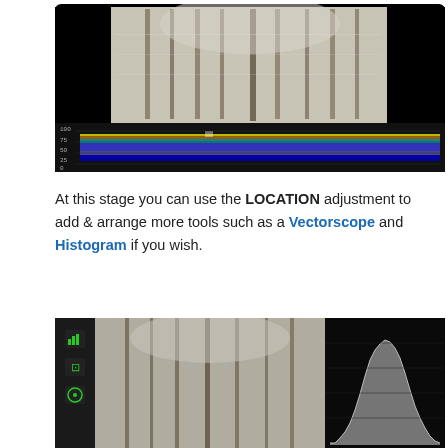[Figure (screenshot): Screenshot of a video editing/color grading application showing an upward view of tall trees in a forest with snow, and below it a waveform monitor display with colorful spectral data on a black background.]
At this stage you can use the LOCATION adjustment to add & arrange more tools such as a Vectorscope and Histogram if you wish.
[Figure (screenshot): Screenshot of a color grading application showing the forest image with a histogram panel on the right side showing a white/grey bell-shaped histogram, and green tool icons on the left sidebar.]